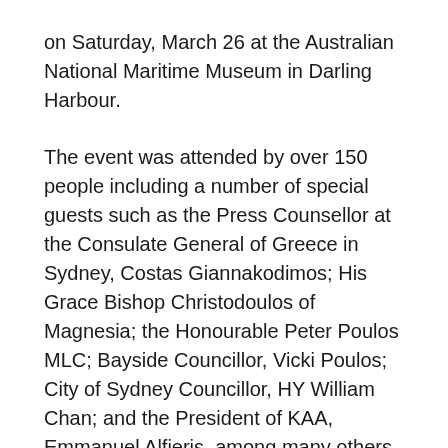on Saturday, March 26 at the Australian National Maritime Museum in Darling Harbour.
The event was attended by over 150 people including a number of special guests such as the Press Counsellor at the Consulate General of Greece in Sydney, Costas Giannakodimos; His Grace Bishop Christodoulos of Magnesia; the Honourable Peter Poulos MLC; Bayside Councillor, Vicki Poulos; City of Sydney Councillor, HY William Chan; and the President of KAA, Emmanuel Alfieris, among many others.